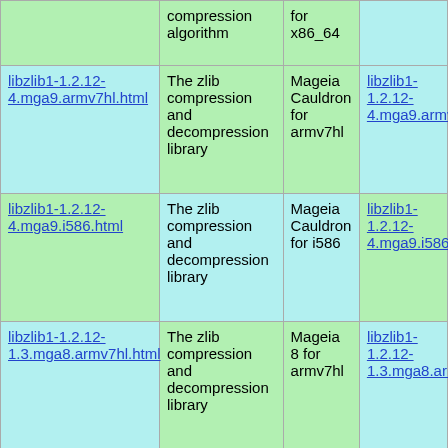| Name | Description | Repository | RPM |
| --- | --- | --- | --- |
| (compression algorithm) | for x86_64 |  |  |
| libzlib1-1.2.12-4.mga9.armv7hl.html | The zlib compression and decompression library | Mageia Cauldron for armv7hl | libzlib1-1.2.12-4.mga9.armv7hl.rp… |
| libzlib1-1.2.12-4.mga9.i586.html | The zlib compression and decompression library | Mageia Cauldron for i586 | libzlib1-1.2.12-4.mga9.i586.rpm |
| libzlib1-1.2.12-1.3.mga8.armv7hl.html | The zlib compression and decompression library | Mageia 8 for armv7hl | libzlib1-1.2.12-1.3.mga8.armv7hl.… |
| libzlib1-1.2.12-1.3.mga8.i586.html | The zlib compression and decompression library | Mageia 8 for i586 | libzlib1-1.2.12-1.3.mga8.i586.rpm… |
|  | The zlib |  |  |